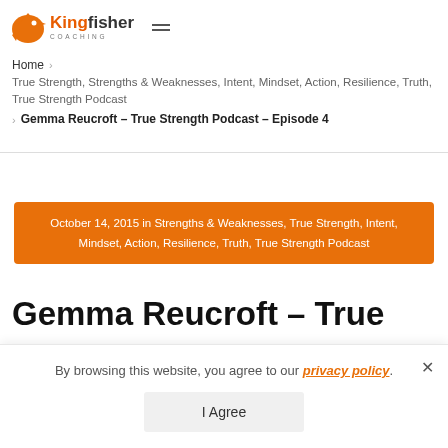[Figure (logo): Kingfisher Coaching logo with orange bird icon and text]
Home > True Strength, Strengths & Weaknesses, Intent, Mindset, Action, Resilience, Truth, True Strength Podcast
  > Gemma Reucroft – True Strength Podcast – Episode 4
October 14, 2015 in Strengths & Weaknesses, True Strength, Intent, Mindset, Action, Resilience, Truth, True Strength Podcast
Gemma Reucroft – True…
By browsing this website, you agree to our privacy policy.
I Agree